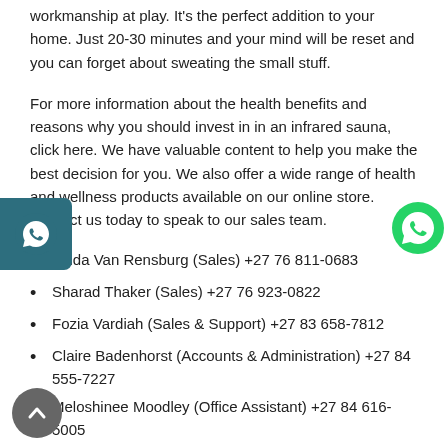workmanship at play. It's the perfect addition to your home. Just 20-30 minutes and your mind will be reset and you can forget about sweating the small stuff.
For more information about the health benefits and reasons why you should invest in in an infrared sauna, click here. We have valuable content to help you make the best decision for you. We also offer a wide range of health and wellness products available on our online store. Contact us today to speak to our sales team.
Zelda Van Rensburg (Sales) +27 76 811-0683
Sharad Thaker (Sales) +27 76 923-0822
Fozia Vardiah (Sales & Support) +27 83 658-7812
Claire Badenhorst (Accounts & Administration) +27 84 555-7227
Meloshinee Moodley (Office Assistant) +27 84 616-5005
[Figure (illustration): WhatsApp icon on left side panel (dark teal background, white WhatsApp logo)]
[Figure (illustration): WhatsApp icon on right side (green circle with white WhatsApp logo)]
[Figure (illustration): Scroll-to-top button (grey circle with white chevron up arrow)]